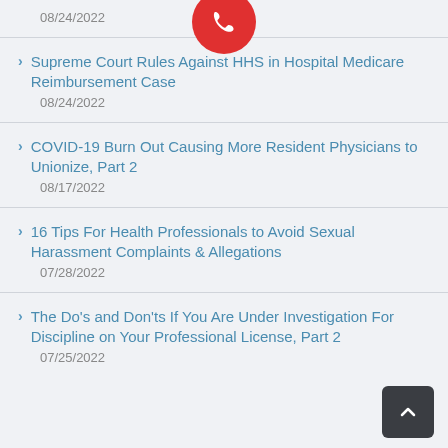08/24/2022
Supreme Court Rules Against HHS in Hospital Medicare Reimbursement Case
08/24/2022
COVID-19 Burn Out Causing More Resident Physicians to Unionize, Part 2
08/17/2022
16 Tips For Health Professionals to Avoid Sexual Harassment Complaints & Allegations
07/28/2022
The Do's and Don'ts If You Are Under Investigation For Discipline on Your Professional License, Part 2
07/25/2022